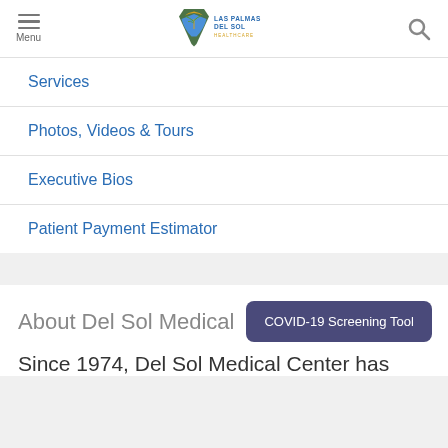[Figure (logo): Las Palmas Del Sol Healthcare logo with shield emblem]
Services
Photos, Videos & Tours
Executive Bios
Patient Payment Estimator
About Del Sol Medical
COVID-19 Screening Tool
Since 1974, Del Sol Medical Center has